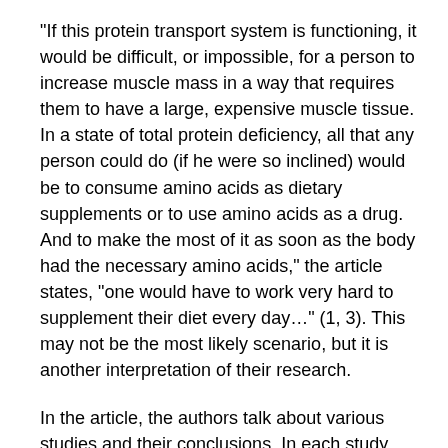"If this protein transport system is functioning, it would be difficult, or impossible, for a person to increase muscle mass in a way that requires them to have a large, expensive muscle tissue. In a state of total protein deficiency, all that any person could do (if he were so inclined) would be to consume amino acids as dietary supplements or to use amino acids as a drug. And to make the most of it as soon as the body had the necessary amino acids," the article states, "one would have to work very hard to supplement their diet every day…" (1, 3). This may not be the most likely scenario, but it is another interpretation of their research.
In the article, the authors talk about various studies and their conclusions. In each study, there is a different interpretation of what they found, but all of them suggest the opinion of